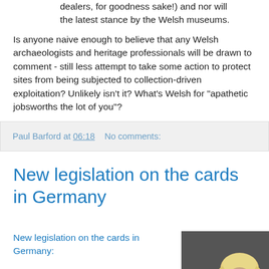dealers, for goodness sake!) and nor will the latest stance by the Welsh museums.
Is anyone naive enough to believe that any Welsh archaeologists and heritage professionals will be drawn to comment - still less attempt to take some action to protect sites from being subjected to collection-driven exploitation? Unlikely isn't it? What's Welsh for "apathetic jobsworths the lot of you"?
Paul Barford at 06:18    No comments:
New legislation on the cards in Germany
New legislation on the cards in Germany:
The federal government
[Figure (photo): Photo of a blonde woman, appears to be a politician or official, photographed at an event with a microphone visible]